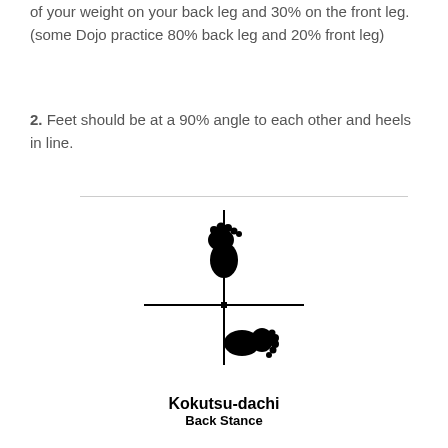of your weight on your back leg and 30% on the front leg. (some Dojo practice 80% back leg and 20% front leg)
2. Feet should be at a 90% angle to each other and heels in line.
[Figure (illustration): Kokutsu-dachi (Back Stance) diagram showing two footprints arranged with one pointing forward (top) and one pointing to the right (bottom), connected by a cross/axis marker indicating heel alignment at 90 degrees.]
Kokutsu-dachi
Back Stance